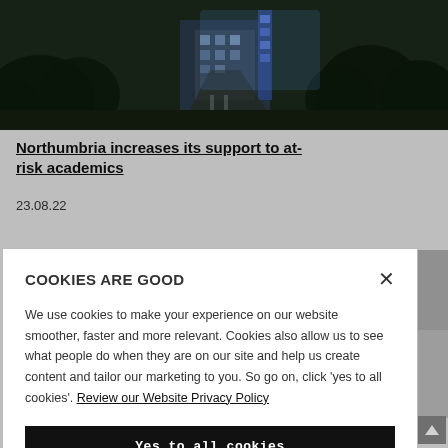[Figure (photo): Aerial/ground-level night photo of a university campus building with blue-lit architectural features surrounded by trees]
Northumbria increases its support to at-risk academics
23.08.22
COOKIES ARE GOOD
We use cookies to make your experience on our website smoother, faster and more relevant. Cookies also allow us to see what people do when they are on our site and help us create content and tailor our marketing to you. So go on, click 'yes to all cookies'. Review our Website Privacy Policy
Yes to all cookies
Let me choose